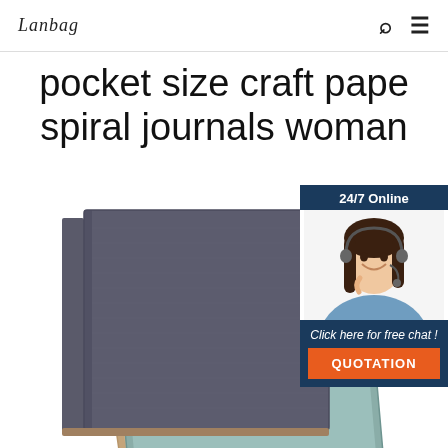Lanbag [logo] | search icon | menu icon
pocket size craft pape spiral journals woman
[Figure (photo): Stack of three notebooks/journals with textured covers in dark gray, teal, and kraft brown colors, photographed at an angle on a white background]
[Figure (infographic): 24/7 Online chat widget with a smiling woman wearing a headset, text 'Click here for free chat!' and an orange QUOTATION button]